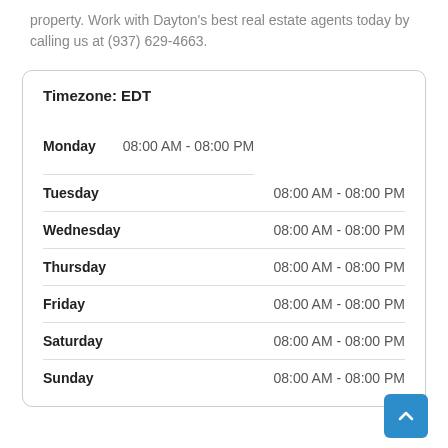property. Work with Dayton's best real estate agents today by calling us at (937) 629-4663.
| Day | Hours |
| --- | --- |
| Monday | 08:00 AM - 08:00 PM |
| Tuesday | 08:00 AM - 08:00 PM |
| Wednesday | 08:00 AM - 08:00 PM |
| Thursday | 08:00 AM - 08:00 PM |
| Friday | 08:00 AM - 08:00 PM |
| Saturday | 08:00 AM - 08:00 PM |
| Sunday | 08:00 AM - 08:00 PM |